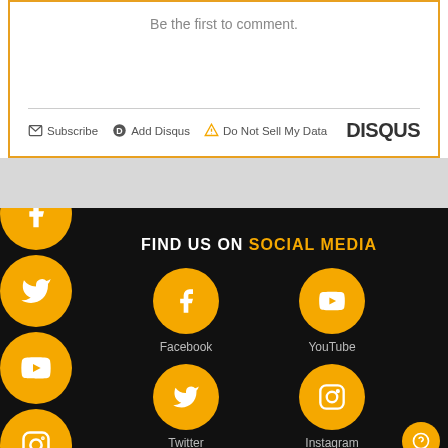Be the first to comment.
Subscribe  Add Disqus  Do Not Sell My Data  DISQUS
FIND US ON SOCIAL MEDIA
[Figure (infographic): Social media icons grid showing Facebook, YouTube, Twitter, and Instagram with labels, plus left-side vertical strip of social icons (Facebook, Twitter, YouTube, Instagram, and more)]